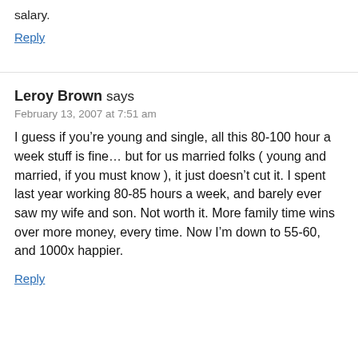salary.
Reply
Leroy Brown says
February 13, 2007 at 7:51 am
I guess if you're young and single, all this 80-100 hour a week stuff is fine… but for us married folks ( young and married, if you must know ), it just doesn't cut it. I spent last year working 80-85 hours a week, and barely ever saw my wife and son. Not worth it. More family time wins over more money, every time. Now I'm down to 55-60, and 1000x happier.
Reply